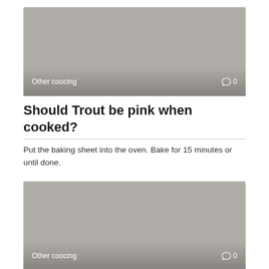[Figure (photo): Gray placeholder image card with overlay bar showing category and comment count]
Other coocing   ○ 0
Should Trout be pink when cooked?
Put the baking sheet into the oven. Bake for 15 minutes or until done.
[Figure (photo): Gray placeholder image card with overlay bar showing category and comment count]
Other coocing   ○ 0